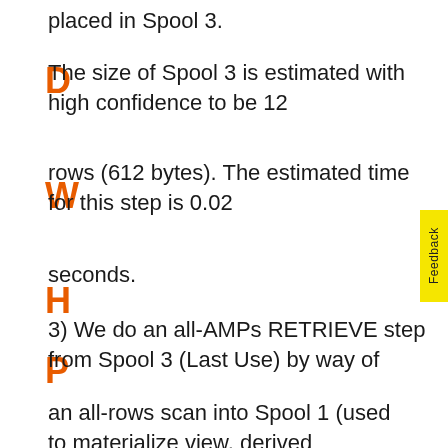placed in Spool 3.
The size of Spool 3 is estimated with high confidence to be 12
rows (612 bytes). The estimated time for this step is 0.02
seconds.
3) We do an all-AMPs RETRIEVE step from Spool 3 (Last Use) by way of
an all-rows scan into Spool 1 (used to materialize view, derived
table, or table function RG) (all_amps)
(compressed columns
allowed), which is built locally on the AMPs. The size of Spool 1